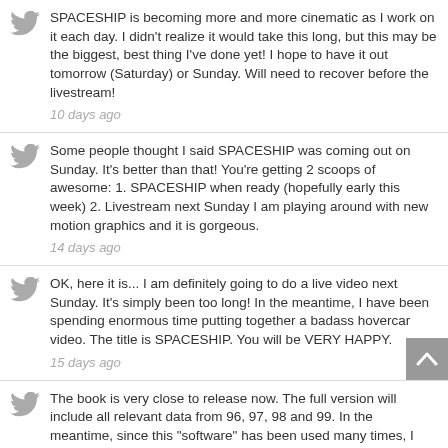SPACESHIP is becoming more and more cinematic as I work on it each day. I didn't realize it would take this long, but this may be the biggest, best thing I've done yet! I hope to have it out tomorrow (Saturday) or Sunday. Will need to recover before the livestream!
10 days ago
Some people thought I said SPACESHIP was coming out on Sunday. It's better than that! You're getting 2 scoops of awesome: 1. SPACESHIP when ready (hopefully early this week) 2. Livestream next Sunday I am playing around with new motion graphics and it is gorgeous.
14 days ago
OK, here it is... I am definitely going to do a live video next Sunday. It's simply been too long! In the meantime, I have been spending enormous time putting together a badass hovercar video. The title is SPACESHIP. You will be VERY HAPPY.
15 days ago
The book is very close to release now. The full version will include all relevant data from 96, 97, 98 and 99. In the meantime, since this "software" has been used many times, I highly recommend we implement it: https://t.co/VR0KTJfGph https://t.co/SwnelJUivA
20 days ago